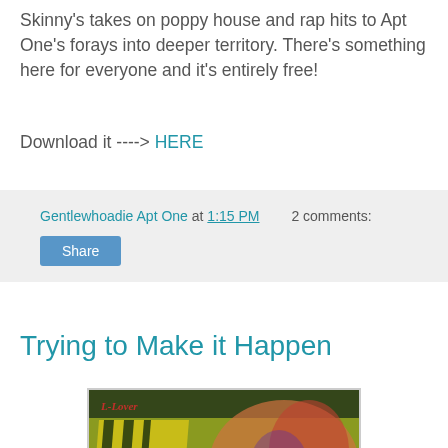Skinny's takes on poppy house and rap hits to Apt One's forays into deeper territory. There's something here for everyone and it's entirely free!
Download it ----> HERE
Genitlewhoadie Apt One at 1:15 PM   2 comments:
Share
Trying to Make it Happen
[Figure (photo): Colorful 3D album art or box sculpture with yellow-green stripes, dark green textured top, people on the right side, and red accents at the bottom, with text reading 'L-Lover' or similar.]